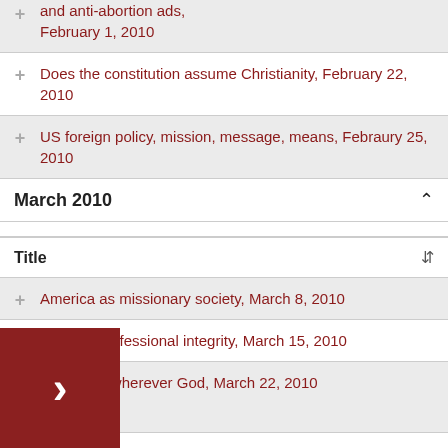and anti-abortion ads, February 1, 2010
Does the constitution assume Christianity, February 22, 2010
US foreign policy, mission, message, means, Febraury 25, 2010
March 2010
| Title |  |
| --- | --- |
America as missionary society, March 8, 2010
Pastors' professional integrity, March 15, 2010
Heaven is wherever God, March 22, 2010